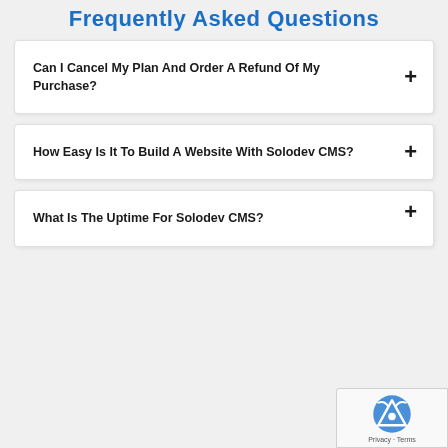Frequently Asked Questions
Can I Cancel My Plan And Order A Refund Of My Purchase?
How Easy Is It To Build A Website With Solodev CMS?
What Is The Uptime For Solodev CMS?